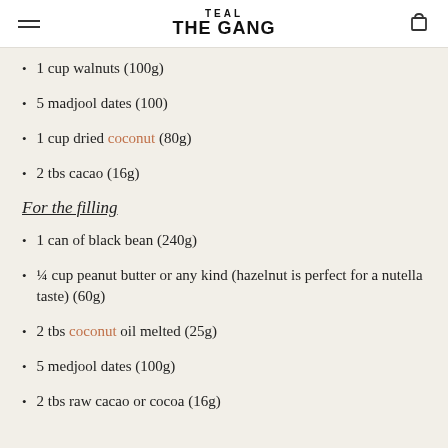TEAL THE GANG
1 cup walnuts (100g)
5 madjool dates (100)
1 cup dried coconut (80g)
2 tbs cacao (16g)
For the filling
1 can of black bean (240g)
¼ cup peanut butter or any kind (hazelnut is perfect for a nutella taste) (60g)
2 tbs coconut oil melted (25g)
5 medjool dates (100g)
2 tbs raw cacao or cocoa (16g)